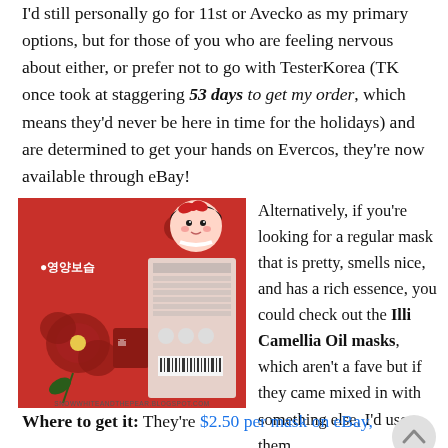I'd still personally go for 11st or Avecko as my primary options, but for those of you who are feeling nervous about either, or prefer not to go with TesterKorea (TK once took at staggering 53 days to get my order, which means they'd never be here in time for the holidays) and are determined to get your hands on Evercos, they're now available through eBay!
[Figure (photo): Product photo of Illi Camellia Oil face mask packaging in red, with Korean text and floral design, plus a Snow White cartoon character icon. Watermark reads SnowWhiteandthePear.blogspot.com]
Alternatively, if you're looking for a regular mask that is pretty, smells nice, and has a rich essence, you could check out the Illi Camellia Oil masks, which aren't a fave but if they came mixed in with something else, I'd use them.
Where to get it:  They're $2.50 per mask on eBay,